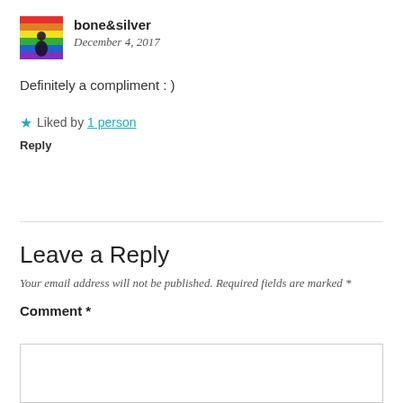[Figure (photo): Small avatar image with rainbow and silhouette motif for user bone&silver]
bone&silver
December 4, 2017
Definitely a compliment : )
★ Liked by 1 person
Reply
Leave a Reply
Your email address will not be published. Required fields are marked *
Comment *